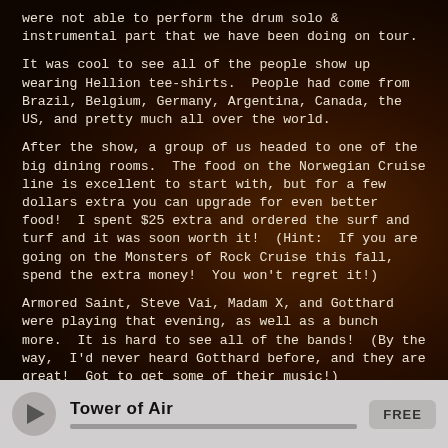were not able to perform the drum solo & instrumental part that we have been doing on tour.
It was cool to see all of the people show up wearing Hellion tee-shirts.  People had come from Brazil, Belgium, Germany, Argentina, Canada, the US, and pretty much all over the world.
After the show, a group of us headed to one of the big dining rooms.  The food on the Norwegian Cruise line is excellent to start with, but for a few dollars extra you can upgrade for even better food!  I spent $25 extra and ordered the surf and turf and it was soon worth it!  (Hint:  If you are going on the Monsters of Rock Cruise this fall, spend the extra money!  You won't regret it!)
Armored Saint, Steve Vai, Madam X, and Gotthard were playing that evening, as well as a bunch more.  It is hard to see all of the bands!  (By the way,  I'd never heard Gotthard before, and they are great!  Got to get some of their music!)
Tower of Air  FREE